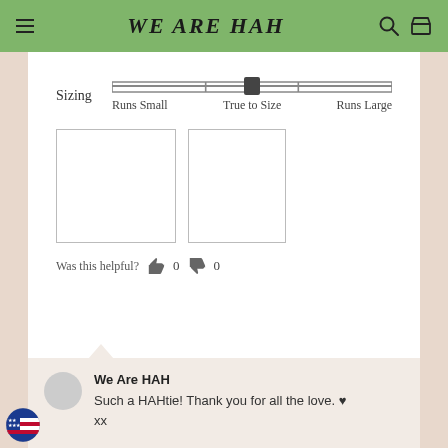We Are HAH
[Figure (infographic): Sizing slider showing 'Runs Small', 'True to Size', 'Runs Large' with thumb positioned at center (True to Size)]
[Figure (photo): Two empty photo placeholder boxes with grey borders]
Was this helpful? 👍 0 👎 0
We Are HAH
Such a HAHtie! Thank you for all the love. ♥
xx